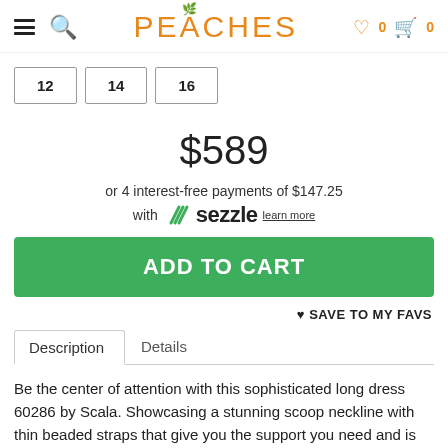PEACHES — navigation header with hamburger menu, search, wishlist (0), cart (0)
Size options: 12, 14, 16
$589
or 4 interest-free payments of $147.25
with Sezzle learn more
ADD TO CART
♥ SAVE TO MY FAVS
Description | Details tabs
Be the center of attention with this sophisticated long dress 60286 by Scala. Showcasing a stunning scoop neckline with thin beaded straps that give you the support you need and is complimented with